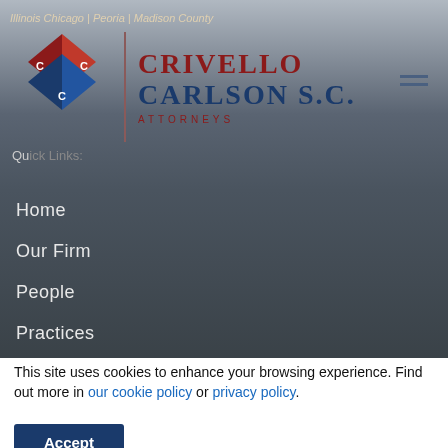Illinois Chicago | Peoria | Madison County
[Figure (logo): Crivello Carlson S.C. Attorneys law firm logo with diamond shape containing C letters in red and blue, beside firm name text]
Home
Our Firm
People
Practices
News & Insights
Offices
Contact Us
Site Search
Search the site
This site uses cookies to enhance your browsing experience. Find out more in our cookie policy or privacy policy.
Accept